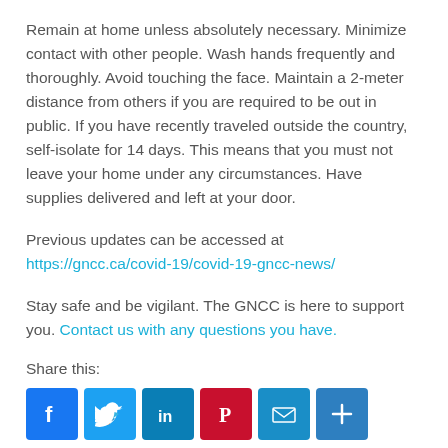Remain at home unless absolutely necessary. Minimize contact with other people. Wash hands frequently and thoroughly. Avoid touching the face. Maintain a 2-meter distance from others if you are required to be out in public. If you have recently traveled outside the country, self-isolate for 14 days. This means that you must not leave your home under any circumstances. Have supplies delivered and left at your door.
Previous updates can be accessed at https://gncc.ca/covid-19/covid-19-gncc-news/
Stay safe and be vigilant. The GNCC is here to support you. Contact us with any questions you have.
Share this:
[Figure (other): Social share buttons: Facebook (blue), Twitter (light blue), LinkedIn (teal-blue), Pinterest (red), Email (blue), More/Plus (blue)]